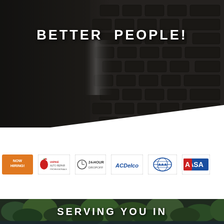BETTER PEOPLE!
[Figure (photo): Close-up of dark SUV tire tread texture with bokeh background — dark automotive photography]
[Figure (logo): NOW HIRING! badge (orange)]
[Figure (logo): IAPAE auto repair logo (red)]
[Figure (logo): 24-HOUR DROPOFF badge with clock icon]
[Figure (logo): ACDelco logo (blue italic)]
[Figure (logo): AAA logo (blue globe/shield)]
[Figure (logo): ASA logo (red/blue)]
[Figure (photo): Dense green tree canopy viewed from below — dark forest/nature background]
SERVING YOU IN